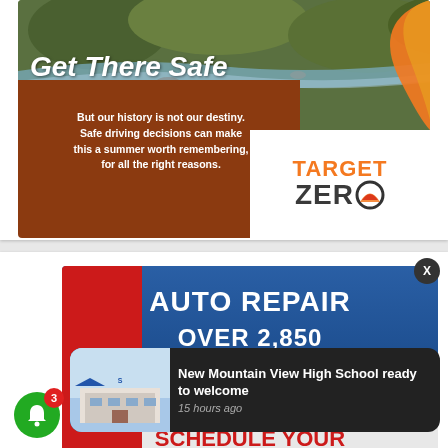[Figure (infographic): Get There Safe campaign graphic with nature river background, orange wave design, brown section with tagline text, and Target Zero logo on white right panel]
Get There Safe
But our history is not our destiny. Safe driving decisions can make this a summer worth remembering, for all the right reasons.
[Figure (logo): TARGET ZERO logo with orange TARGET text and dark gray ZERO text with a stylized road/circle graphic replacing the O]
[Figure (infographic): Auto repair advertisement with blue header, red left panel, text reading AUTO REPAIR, OVER 2,850, P, and SCHEDULE YOUR]
[Figure (photo): Notification popup showing New Mountain View High School building photo with text: New Mountain View High School ready to welcome, 15 hours ago]